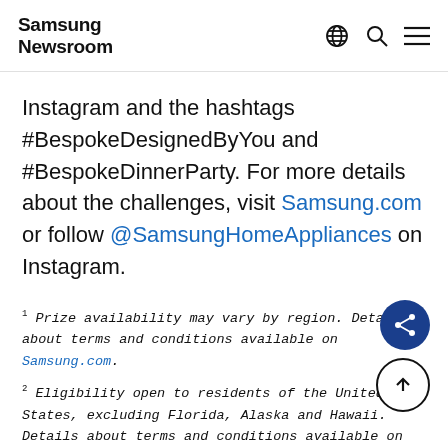Samsung Newsroom
Instagram and the hashtags #BespokeDesignedByYou and #BespokeDinnerParty. For more details about the challenges, visit Samsung.com or follow @SamsungHomeAppliances on Instagram.
1 Prize availability may vary by region. Details about terms and conditions available on Samsung.com.
2 Eligibility open to residents of the United States, excluding Florida, Alaska and Hawaii. Details about terms and conditions available on Samsung.com.